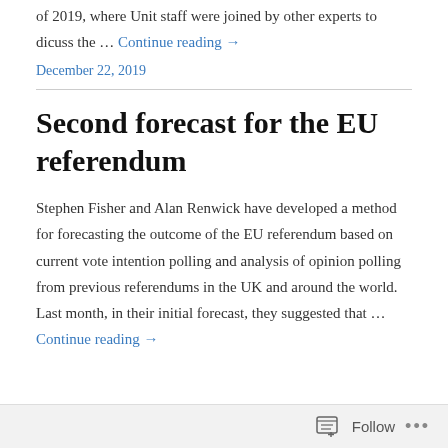of 2019, where Unit staff were joined by other experts to dicuss the … Continue reading →
December 22, 2019
Second forecast for the EU referendum
Stephen Fisher and Alan Renwick have developed a method for forecasting the outcome of the EU referendum based on current vote intention polling and analysis of opinion polling from previous referendums in the UK and around the world. Last month, in their initial forecast, they suggested that … Continue reading →
Follow …